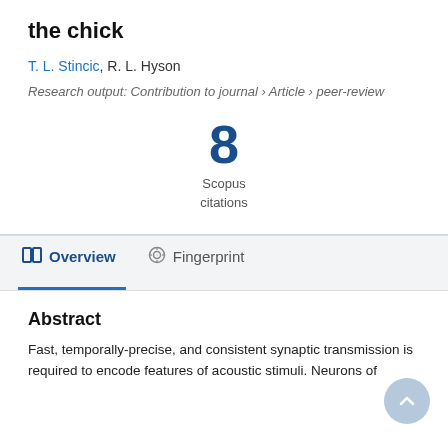the chick
T. L. Stincic, R. L. Hyson
Research output: Contribution to journal › Article › peer-review
[Figure (infographic): Scopus citations badge showing the number 8]
Overview
Fingerprint
Abstract
Fast, temporally-precise, and consistent synaptic transmission is required to encode features of acoustic stimuli. Neurons of